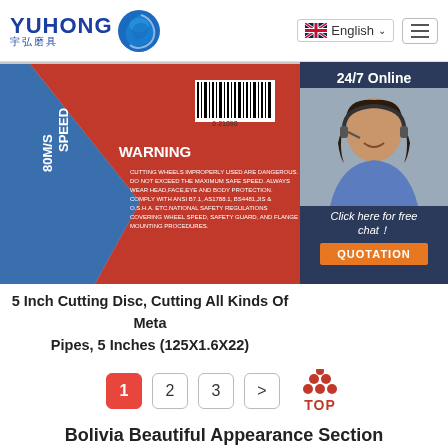YUHONG 宇弘磨具 | English | Menu
[Figure (photo): Close-up of a red and blue 5-inch cutting disc showing WARNING label with safety instructions, speed marking 80M/S, and barcode 621090]
[Figure (photo): Customer service representative with headset smiling, with '24/7 Online', 'Click here for free chat!', and 'QUOTATION' button overlay]
5 Inch Cutting Disc, Cutting All Kinds Of Metal Pipes, 5 Inches (125X1.6X22)
1 2 3 > TOP
Bolivia Beautiful Appearance Section